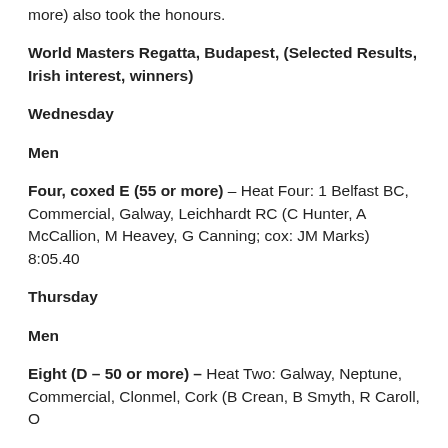more) also took the honours.
World Masters Regatta, Budapest, (Selected Results, Irish interest, winners)
Wednesday
Men
Four, coxed E (55 or more) – Heat Four: 1 Belfast BC, Commercial, Galway, Leichhardt RC (C Hunter, A McCallion, M Heavey, G Canning; cox: JM Marks) 8:05.40
Thursday
Men
Eight (D – 50 or more) – Heat Two: Galway, Neptune, Commercial, Clonmel, Cork (B Crean, B Smyth, R Caroll, O